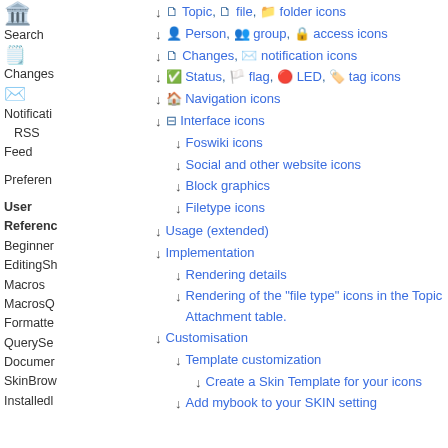Topic, file, folder icons
Person, group, access icons
Changes, notification icons
Status, flag, LED, tag icons
Navigation icons
Interface icons
Foswiki icons
Social and other website icons
Block graphics
Filetype icons
Usage (extended)
Implementation
Rendering details
Rendering of the "file type" icons in the Topic Attachment table.
Customisation
Template customization
Create a Skin Template for your icons
Add mybook to your SKIN setting
Search
Changes
Notification
RSS Feed
Preferences
User
Reference
Beginner
EditingSh
Macros
MacrosQ
Formatte
QuerySe
Documen
SkinBrow
InstalledI